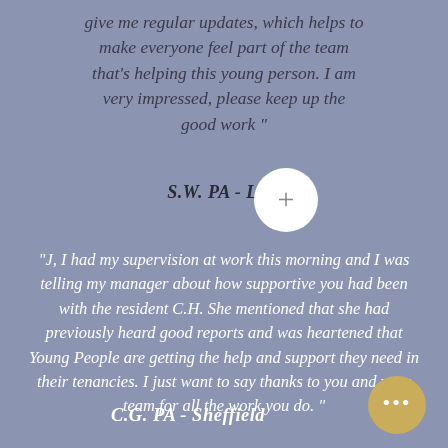give me regular updates, which helps to make everyone feel part of the team that's helping this young person. I am very impressed, please keep up the good work"
S.W. PA - LCS
"J, I had my supervision at work this morning and I was telling my manager about how supportive you had been with the resident C.H. She mentioned that she had previously heard good reports and was heartened that Young People are getting the help and support they need in their tenancies. I just want to say thanks to you and your team for all the work you do."
C.G. PA - Sheffield